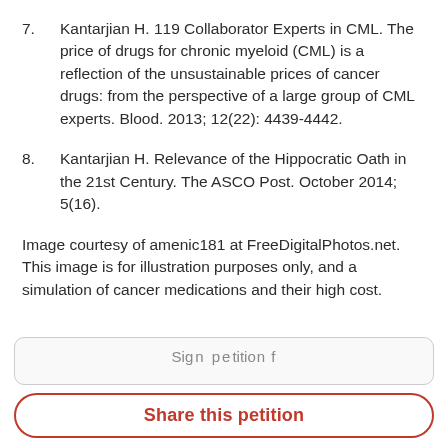7.    Kantarjian H. 119 Collaborator Experts in CML. The price of drugs for chronic myeloid (CML) is a reflection of the unsustainable prices of cancer drugs: from the perspective of a large group of CML experts. Blood. 2013; 12(22): 4439-4442.
8.    Kantarjian H. Relevance of the Hippocratic Oath in the 21st Century. The ASCO Post. October 2014; 5(16).
Image courtesy of amenic181 at FreeDigitalPhotos.net. This image is for illustration purposes only, and a simulation of cancer medications and their high cost.
Share this petition